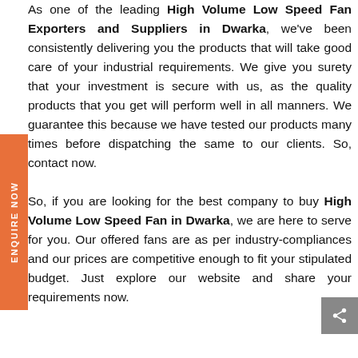As one of the leading High Volume Low Speed Fan Exporters and Suppliers in Dwarka, we've been consistently delivering you the products that will take good care of your industrial requirements. We give you surety that your investment is secure with us, as the quality products that you get will perform well in all manners. We guarantee this because we have tested our products many times before dispatching the same to our clients. So, contact now.

So, if you are looking for the best company to buy High Volume Low Speed Fan in Dwarka, we are here to serve for you. Our offered fans are as per industry-compliances and our prices are competitive enough to fit your stipulated budget. Just explore our website and share your requirements now.